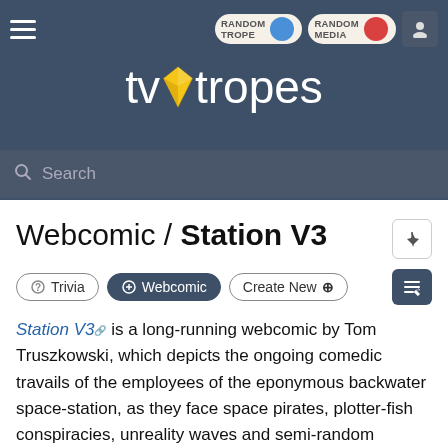[Figure (screenshot): TV Tropes website header with logo, navigation buttons (Random Trope, Random Media, user icon), hamburger menu, and search bar]
Webcomic / Station V3
Trivia | Webcomic | Create New
Station V3 is a long-running webcomic by Tom Truszkowski, which depicts the ongoing comedic travails of the employees of the eponymous backwater space-station, as they face space pirates, plotter-fish conspiracies, unreality waves and semi-random teleportations to distant galaxies. The cast includes Floyd, the station's robot